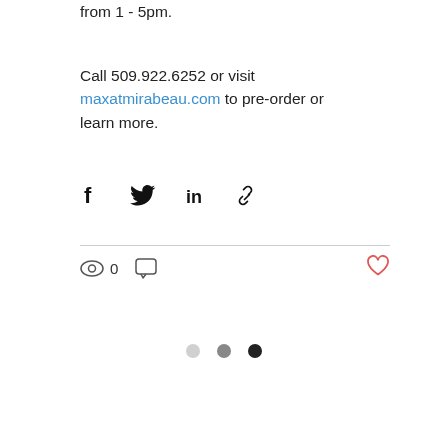from 1 - 5pm.
Call 509.922.6252 or visit maxatmirabeau.com to pre-order or learn more.
[Figure (infographic): Social share icons row: Facebook (f), Twitter (bird), LinkedIn (in), and link/chain icon]
[Figure (infographic): Stats row with eye icon showing 0 views, comment bubble icon, and heart/like icon on the right]
[Figure (infographic): Three pagination dots: light gray, medium gray, dark/black]